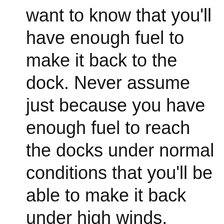want to know that you'll have enough fuel to make it back to the dock. Never assume just because you have enough fuel to reach the docks under normal conditions that you'll be able to make it back under high winds.

This might not be the case at all. You'll want to think about what it takes to make it back under normal conditions and